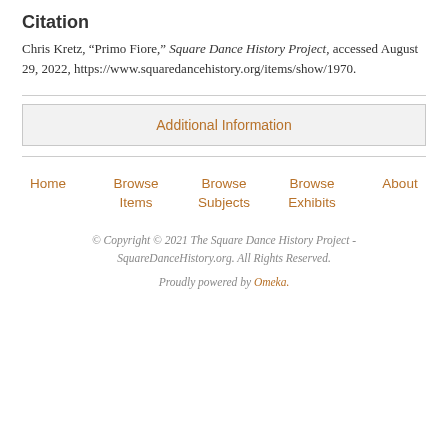Citation
Chris Kretz, “Primo Fiore,” Square Dance History Project, accessed August 29, 2022, https://www.squaredancehistory.org/items/show/1970.
Additional Information
Home
Browse Items
Browse Subjects
Browse Exhibits
About
© Copyright © 2021 The Square Dance History Project - SquareDanceHistory.org. All Rights Reserved.
Proudly powered by Omeka.